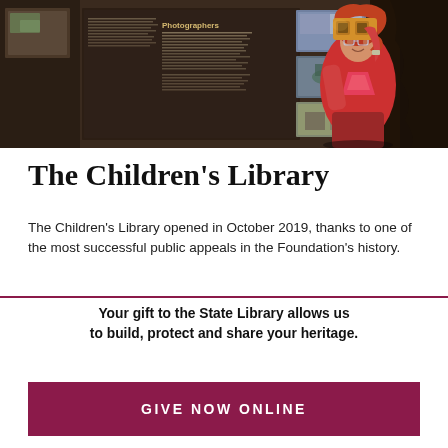[Figure (photo): A woman with red hair wearing a red and pink patterned top looks through a cardboard viewer/periscope at a museum exhibit. Behind her is a dark display panel with photographs and text about 'Photographers', with multiple historical photos mounted on a dark background wall.]
The Children's Library
The Children's Library opened in October 2019, thanks to one of the most successful public appeals in the Foundation's history.
Your gift to the State Library allows us to build, protect and share your heritage.
GIVE NOW ONLINE